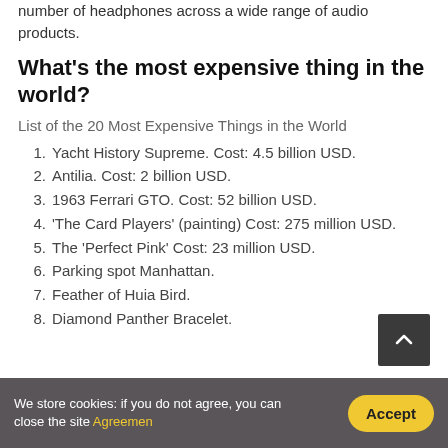number of headphones across a wide range of audio products.
What's the most expensive thing in the world?
List of the 20 Most Expensive Things in the World
1. Yacht History Supreme. Cost: 4.5 billion USD.
2. Antilia. Cost: 2 billion USD.
3. 1963 Ferrari GTO. Cost: 52 billion USD.
4. 'The Card Players' (painting) Cost: 275 million USD.
5. The 'Perfect Pink' Cost: 23 million USD.
6. Parking spot Manhattan.
7. Feather of Huia Bird.
8. Diamond Panther Bracelet.
We store cookies: if you do not agree, you can close the site Agreement